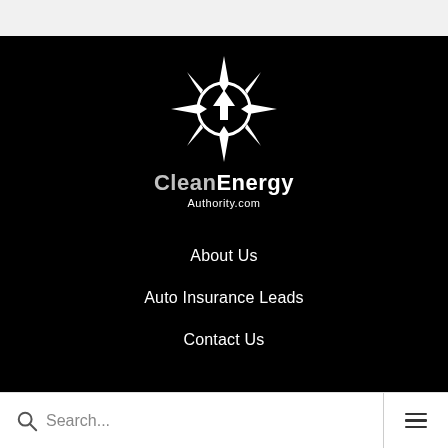[Figure (logo): CleanEnergy Authority.com logo: white sun/compass star icon with house arrow inside a circle, with text 'CleanEnergy Authority.com' below on black background]
About Us
Auto Insurance Leads
Contact Us
Search... ☰